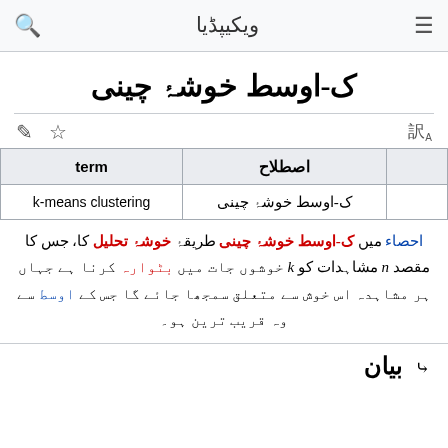ویکیپڈیا
ک-اوسط خوشۂ چینی
| اصطلاح | term |
| --- | --- |
| ک-اوسط خوشۂ چینی | k-means clustering |
احصاء میں ک-اوسط خوشۂ چینی طریقۂ خوشۂ تحلیل کا، جس کا مقصد n مشاہدات کو k خوشوں جات میں بٹوارہ کرنا ہے جہاں ہر مشاہدہ اس خوش سے متعلق سمجھا جائے گا جس کے اوسط سے وہ قریب ترین ہو۔
بیان